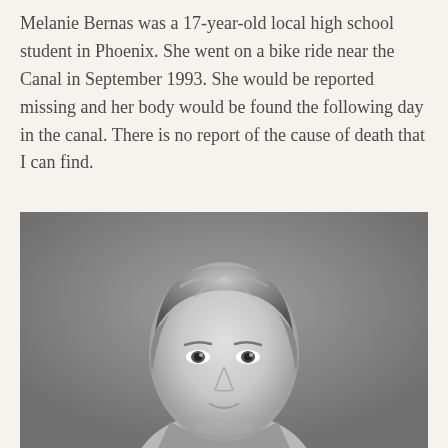Melanie Bernas was a 17-year-old local high school student in Phoenix. She went on a bike ride near the Canal in September 1993. She would be reported missing and her body would be found the following day in the canal. There is no report of the cause of death that I can find.
[Figure (photo): Black and white portrait photograph of Melanie Bernas, a young woman with short light-colored hair, facing slightly forward toward the camera.]